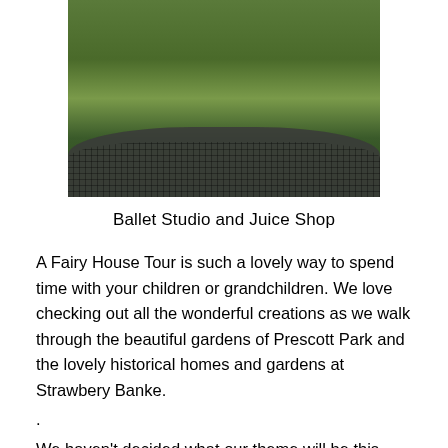[Figure (photo): A round dark metal mesh tray filled with green moss, small plants, twigs, and tiny white flowers arranged as a fairy garden display.]
Ballet Studio and Juice Shop
A Fairy House Tour is such a lovely way to spend time with your children or grandchildren. We love checking out all the wonderful creations as we walk through the beautiful gardens of Prescott Park and the lovely historical homes and gardens at Strawbery Banke.
.
We haven't decided what our theme will be this year, but we'll submit a fairy house for the tour, enjoy our time walking through the historical gardens, and I have some lovely lavender material and tulle for a frilly outfit